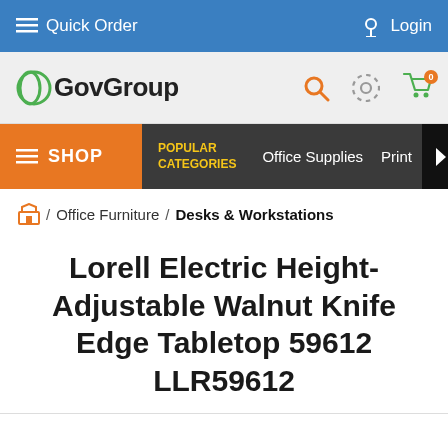Quick Order | Login
[Figure (logo): GovGroup logo with search, settings, and cart icons]
SHOP | POPULAR CATEGORIES | Office Supplies | Print
Home / Office Furniture / Desks & Workstations
Lorell Electric Height-Adjustable Walnut Knife Edge Tabletop 59612 LLR59612